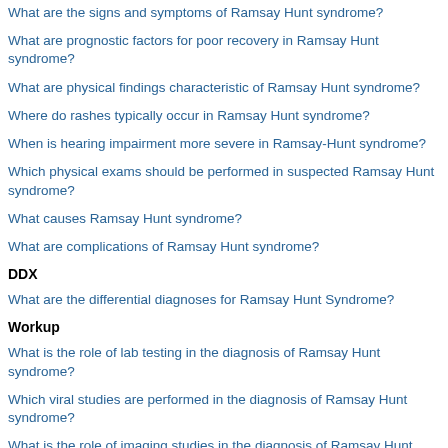What are the signs and symptoms of Ramsay Hunt syndrome?
What are prognostic factors for poor recovery in Ramsay Hunt syndrome?
What are physical findings characteristic of Ramsay Hunt syndrome?
Where do rashes typically occur in Ramsay Hunt syndrome?
When is hearing impairment more severe in Ramsay-Hunt syndrome?
Which physical exams should be performed in suspected Ramsay Hunt syndrome?
What causes Ramsay Hunt syndrome?
What are complications of Ramsay Hunt syndrome?
DDX
What are the differential diagnoses for Ramsay Hunt Syndrome?
Workup
What is the role of lab testing in the diagnosis of Ramsay Hunt syndrome?
Which viral studies are performed in the diagnosis of Ramsay Hunt syndrome?
What is the role of imaging studies in the diagnosis of Ramsay Hunt syndrome?